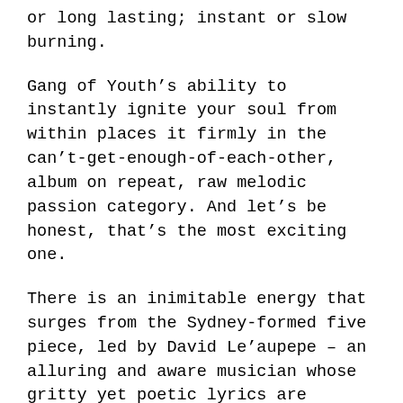or long lasting; instant or slow burning.
Gang of Youth's ability to instantly ignite your soul from within places it firmly in the can't-get-enough-of-each-other, album on repeat, raw melodic passion category. And let's be honest, that's the most exciting one.
There is an inimitable energy that surges from the Sydney-formed five piece, led by David Le'aupepe – an alluring and aware musician whose gritty yet poetic lyrics are earnest and captivating. There is a sensuality and a sensibility in his lyricism and delivery that reflects a life that has already witnessed so much hardship and loss. But for all the